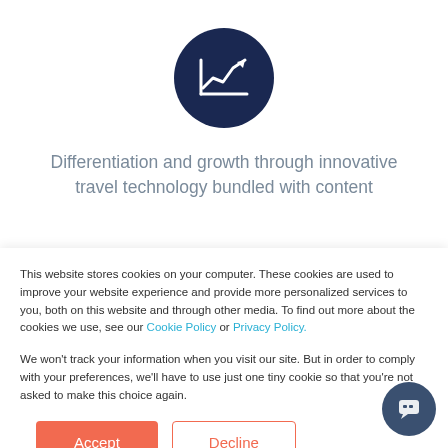[Figure (illustration): Dark navy circle icon with a white line chart and upward arrow graphic]
Differentiation and growth through innovative travel technology bundled with content
[Figure (illustration): Dark navy circle icon partially visible, showing a database/coins stack symbol]
This website stores cookies on your computer. These cookies are used to improve your website experience and provide more personalized services to you, both on this website and through other media. To find out more about the cookies we use, see our Cookie Policy or Privacy Policy.
We won't track your information when you visit our site. But in order to comply with your preferences, we'll have to use just one tiny cookie so that you're not asked to make this choice again.
Accept
Decline